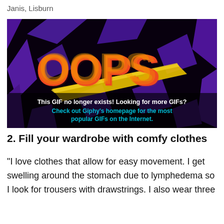Janis, Lisburn
[Figure (screenshot): A Giphy 'OOPS' placeholder image on a dark purple/black background with diagonal purple stripes. The word 'OOPS' is in large orange-to-red brushstroke letters with a yellow diagonal streak. Text below reads: 'This GIF no longer exists! Looking for more GIFs? Check out Giphy's homepage for the most popular GIFs on the Internet.' The link text is in cyan/blue.]
2. Fill your wardrobe with comfy clothes
“I love clothes that allow for easy movement. I get swelling around the stomach due to lymphedema so I look for trousers with drawstrings. I also wear three